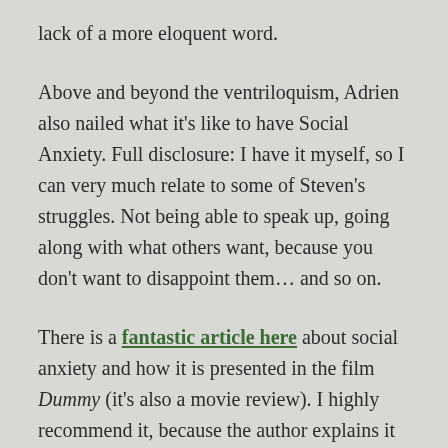lack of a more eloquent word.
Above and beyond the ventriloquism, Adrien also nailed what it's like to have Social Anxiety. Full disclosure: I have it myself, so I can very much relate to some of Steven's struggles. Not being able to speak up, going along with what others want, because you don't want to disappoint them… and so on.
There is a fantastic article here about social anxiety and how it is presented in the film Dummy (it's also a movie review). I highly recommend it, because the author explains it far clearer than I ever could.